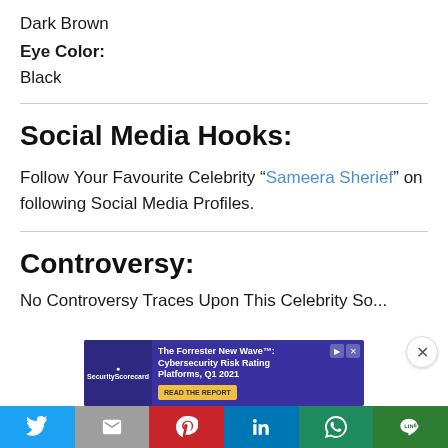Dark Brown
Eye Color:
Black
Social Media Hooks:
Follow Your Favourite Celebrity “Sameera Sherief” on following Social Media Profiles.
Controversy:
No Controversy Traces Upon This Celebrity So...
[Figure (infographic): Advertisement banner for Forrester New Wave Cybersecurity Risk Rating Platforms Q1 2021 by SecurityScorecard with READ THE REPORT button]
[Figure (infographic): Social media sharing bar with Twitter, Gmail, Pinterest, LinkedIn, WhatsApp, and LINE buttons]